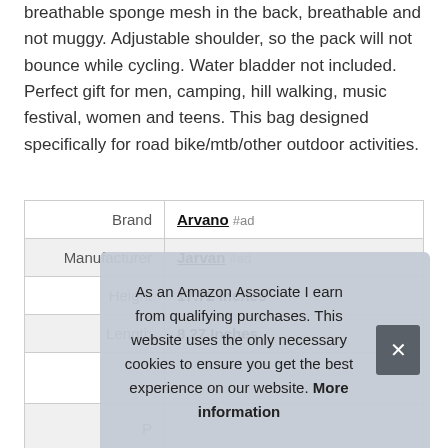breathable sponge mesh in the back, breathable and not muggy. Adjustable shoulder, so the pack will not bounce while cycling. Water bladder not included. Perfect gift for men, camping, hill walking, music festival, women and teens. This bag designed specifically for road bike/mtb/other outdoor activities.
| Brand | Arvano #ad |
| Manufacturer | Jarvan #ad |
| Height | 17.72 Inches |
| Length | 8.27 Inches |
| P |  |
As an Amazon Associate I earn from qualifying purchases. This website uses the only necessary cookies to ensure you get the best experience on our website. More information